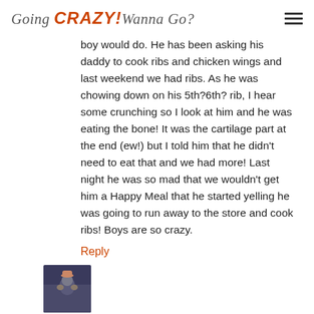Going CRAZY! Wanna Go?
boy would do. He has been asking his daddy to cook ribs and chicken wings and last weekend we had ribs. As he was chowing down on his 5th?6th? rib, I hear some crunching so I look at him and he was eating the bone! It was the cartilage part at the end (ew!) but I told him that he didn't need to eat that and we had more! Last night he was so mad that we wouldn't get him a Happy Meal that he started yelling he was going to run away to the store and cook ribs! Boys are so crazy.
Reply
[Figure (photo): Small avatar photo of a person, dark clothing, against a dark blue background]